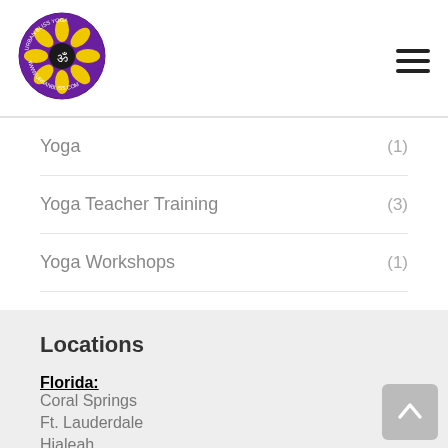[Figure (logo): Urban Bliss Yoga circular logo with sunflower and om symbol on purple background]
Yoga (1)
Yoga Teacher Training (3)
Yoga Workshops (1)
Locations
Florida:
Coral Springs
Ft. Lauderdale
Hialeah
Kendall